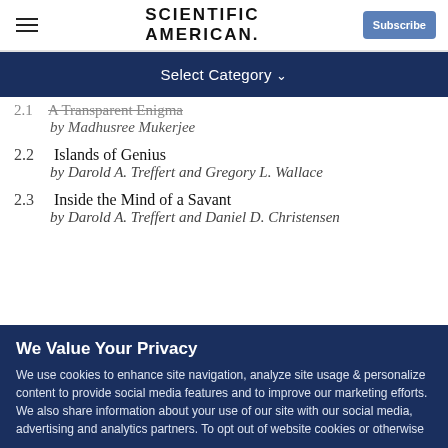Scientific American — Subscribe
Select Category
2.1 A Transparent Enigma by Madhusree Mukerjee
2.2 Islands of Genius by Darold A. Treffert and Gregory L. Wallace
2.3 Inside the Mind of a Savant by Darold A. Treffert and Daniel D. Christensen
We Value Your Privacy
We use cookies to enhance site navigation, analyze site usage & personalize content to provide social media features and to improve our marketing efforts. We also share information about your use of our site with our social media, advertising and analytics partners. To opt out of website cookies or otherwise manage your cookie settings, click Cookie Settings. More